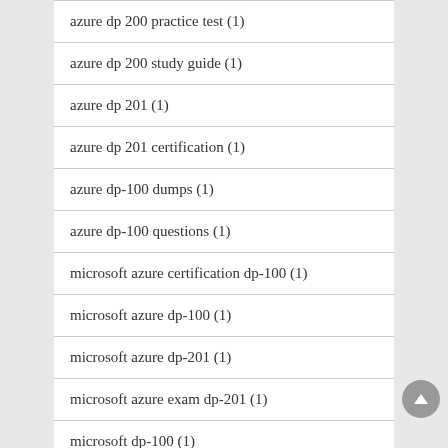azure dp 200 practice test (1)
azure dp 200 study guide (1)
azure dp 201 (1)
azure dp 201 certification (1)
azure dp-100 dumps (1)
azure dp-100 questions (1)
microsoft azure certification dp-100 (1)
microsoft azure dp-100 (1)
microsoft azure dp-201 (1)
microsoft azure exam dp-201 (1)
microsoft dp-100 (1)